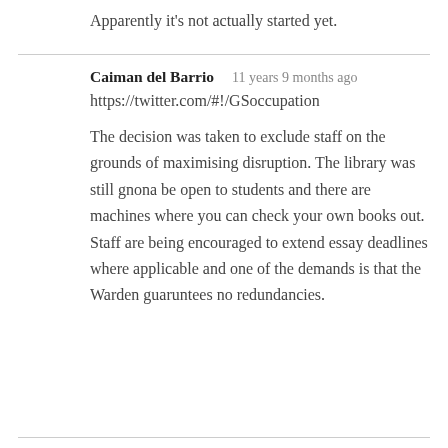Apparently it's not actually started yet.
Caiman del Barrio   11 years 9 months ago
https://twitter.com/#!/GSoccupation

The decision was taken to exclude staff on the grounds of maximising disruption. The library was still gnona be open to students and there are machines where you can check your own books out. Staff are being encouraged to extend essay deadlines where applicable and one of the demands is that the Warden guaruntees no redundancies.